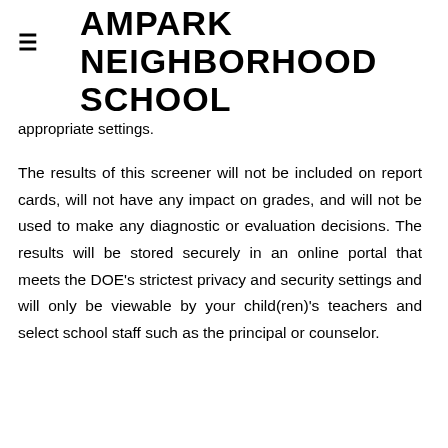AMPARK NEIGHBORHOOD SCHOOL
appropriate settings.
The results of this screener will not be included on report cards, will not have any impact on grades, and will not be used to make any diagnostic or evaluation decisions. The results will be stored securely in an online portal that meets the DOE’s strictest privacy and security settings and will only be viewable by your child(ren)’s teachers and select school staff such as the principal or counselor.
The information gathered from the DESSA screening tool will allow us to provide the very best support to